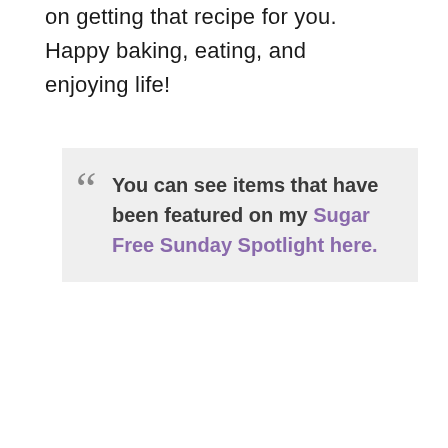on getting that recipe for you. Happy baking, eating, and enjoying life!
You can see items that have been featured on my Sugar Free Sunday Spotlight here.